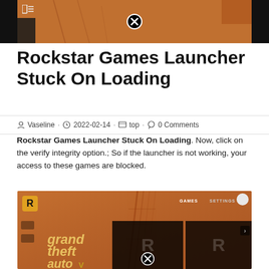[Figure (screenshot): Top screenshot of Rockstar Games Launcher interface with orange/brown background and a close (X) button overlay]
Rockstar Games Launcher Stuck On Loading
Vaseline · 2022-02-14 · top · 0 Comments
Rockstar Games Launcher Stuck On Loading. Now, click on the verify integrity option.; So if the launcher is not working, your access to these games are blocked.
[Figure (screenshot): Rockstar Games Launcher screenshot showing Grand Theft Auto V and other game tiles with loading overlay and close (X) button]